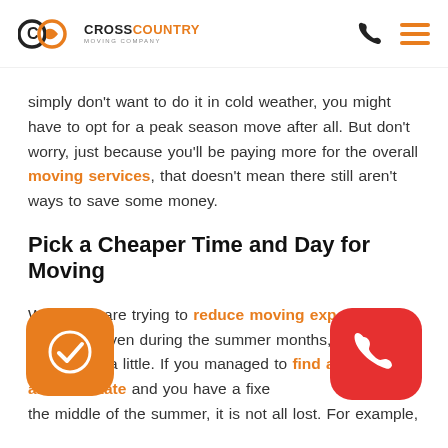CrossCountry Moving Company
simply don't want to do it in cold weather, you might have to opt for a peak season move after all. But don't worry, just because you'll be paying more for the overall moving services, that doesn't mean there still aren't ways to save some money.
Pick a Cheaper Time and Day for Moving
When you are trying to reduce moving expenses know that even during the summer months, prices tend to fall a little. If you managed to find a job in another state and you have a fixed date in the middle of the summer, it is not all lost. For example,